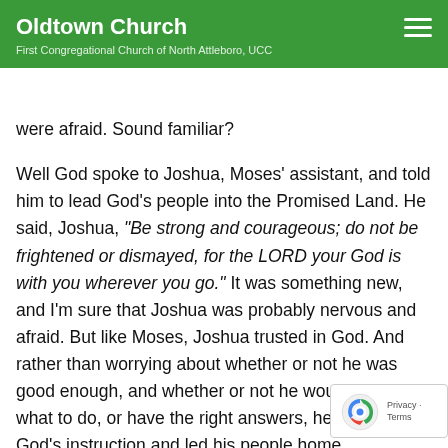Oldtown Church
First Congregational Church of North Attleboro, UCC
were afraid. Sound familiar?
Well God spoke to Joshua, Moses’ assistant, and told him to lead God’s people into the Promised Land. He said, Joshua, “Be strong and courageous; do not be frightened or dismayed, for the LORD your God is with you wherever you go.” It was something new, and I’m sure that Joshua was probably nervous and afraid. But like Moses, Joshua trusted in God. And rather than worrying about whether or not he was good enough, and whether or not he would know what to do, or have the right answers, he followed God’s instruction and led his people home.
My friends, over and over in the Bible, we hear stories of God calling people to go out and do something. And every...